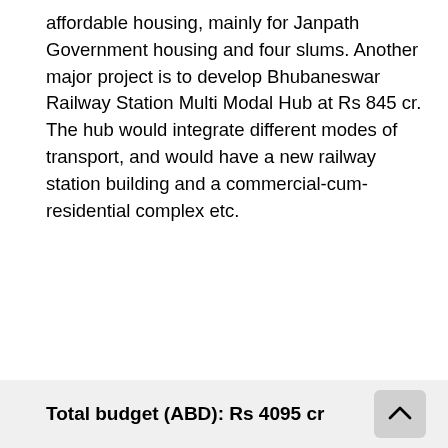affordable housing, mainly for Janpath Government housing and four slums. Another major project is to develop Bhubaneswar Railway Station Multi Modal Hub at Rs 845 cr. The hub would integrate different modes of transport, and would have a new railway station building and a commercial-cum-residential complex etc.
Total budget (ABD): Rs 4095 cr